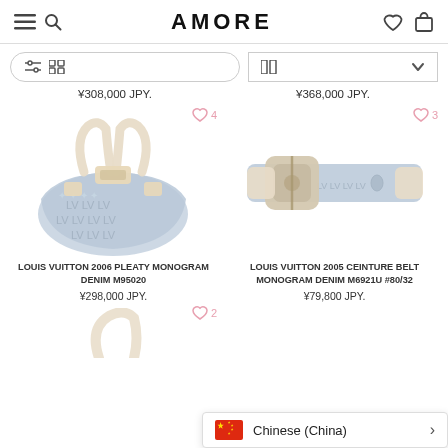AMORE
¥308,000 JPY.
¥368,000 JPY.
[Figure (photo): Louis Vuitton 2006 Pleaty Monogram Denim handbag, blue denim with gold hardware and cream handles]
LOUIS VUITTON 2006 PLEATY MONOGRAM DENIM M95020
¥298,000 JPY.
[Figure (photo): Louis Vuitton 2005 Ceinture Belt Monogram Denim M6921U #80/32, blue denim belt with gold buckle]
LOUIS VUITTON 2005 CEINTURE BELT MONOGRAM DENIM M6921U #80/32
¥79,800 JPY.
Chinese (China)